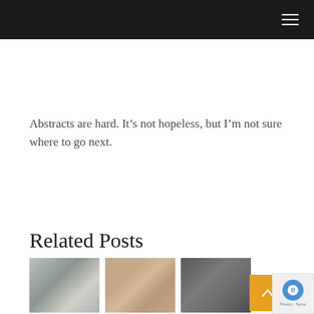Abstracts are hard. It’s not hopeless, but I’m not sure where to go next.
Related Posts
[Figure (photo): Three thumbnail images of related blog posts: first shows a person on a beach with houses in the background, second shows a man in a red shirt, third shows a dark interior scene.]